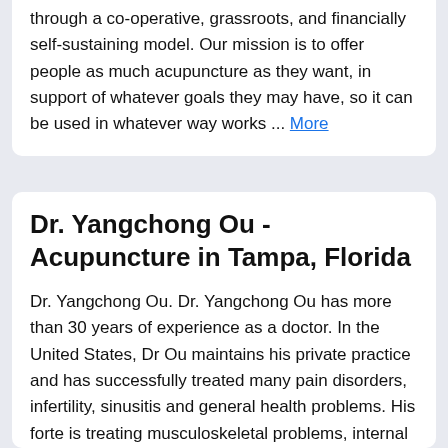through a co-operative, grassroots, and financially self-sustaining model. Our mission is to offer people as much acupuncture as they want, in support of whatever goals they may have, so it can be used in whatever way works ... More
Dr. Yangchong Ou - Acupuncture in Tampa, Florida
Dr. Yangchong Ou. Dr. Yangchong Ou has more than 30 years of experience as a doctor. In the United States, Dr Ou maintains his private practice and has successfully treated many pain disorders, infertility, sinusitis and general health problems. His forte is treating musculoskeletal problems, internal diseases and infertility. More